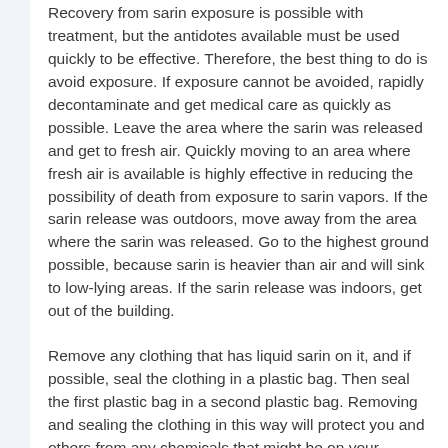Recovery from sarin exposure is possible with treatment, but the antidotes available must be used quickly to be effective. Therefore, the best thing to do is avoid exposure. If exposure cannot be avoided, rapidly decontaminate and get medical care as quickly as possible. Leave the area where the sarin was released and get to fresh air. Quickly moving to an area where fresh air is available is highly effective in reducing the possibility of death from exposure to sarin vapors. If the sarin release was outdoors, move away from the area where the sarin was released. Go to the highest ground possible, because sarin is heavier than air and will sink to low-lying areas. If the sarin release was indoors, get out of the building.
Remove any clothing that has liquid sarin on it, and if possible, seal the clothing in a plastic bag. Then seal the first plastic bag in a second plastic bag. Removing and sealing the clothing in this way will protect you and others from any chemicals that might be on your clothes. If helping other people remove their clothing, try to avoid touching any